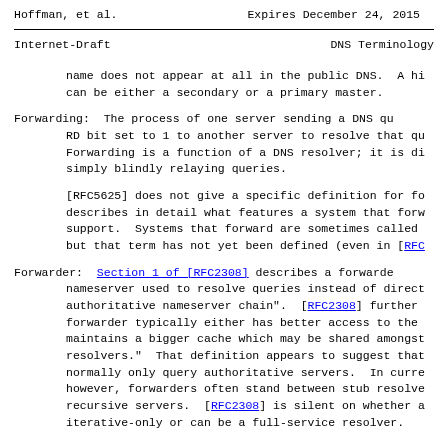Hoffman, et al.        Expires December 24, 2015
Internet-Draft                    DNS Terminology
name does not appear at all in the public DNS.  A hi can be either a secondary or a primary master.
Forwarding:  The process of one server sending a DNS qu RD bit set to 1 to another server to resolve that qu Forwarding is a function of a DNS resolver; it is di simply blindly relaying queries.
[RFC5625] does not give a specific definition for fo describes in detail what features a system that forw support.  Systems that forward are sometimes called but that term has not yet been defined (even in [RFC
Forwarder:  Section 1 of [RFC2308] describes a forwarde nameserver used to resolve queries instead of direct authoritative nameserver chain".  [RFC2308] further forwarder typically either has better access to the maintains a bigger cache which may be shared amongst resolvers."  That definition appears to suggest that normally only query authoritative servers.  In curre however, forwarders often stand between stub resolve recursive servers.  [RFC2308] is silent on whether a iterative-only or can be a full-service resolver.